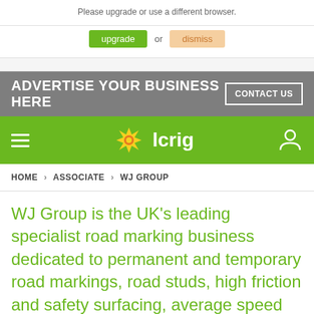Please upgrade or use a different browser.
upgrade or dismiss
[Figure (other): Advertisement banner: ADVERTISE YOUR BUSINESS HERE with CONTACT US button]
[Figure (other): lcrig navigation bar with hamburger menu, logo (flower icon + lcrig text), and user icon]
HOME > ASSOCIATE > WJ GROUP
WJ Group is the UK's leading specialist road marking business dedicated to permanent and temporary road markings, road studs, high friction and safety surfacing, average speed cameras, asphalt